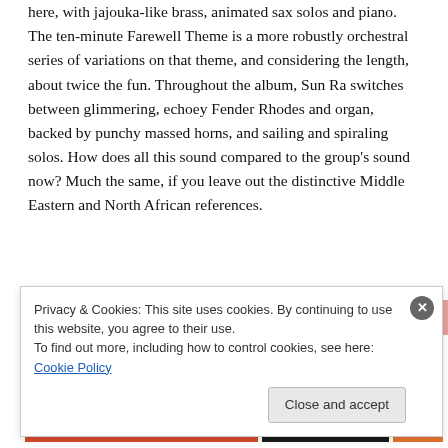here, with jajouka-like brass, animated sax solos and piano. The ten-minute Farewell Theme is a more robustly orchestral series of variations on that theme, and considering the length, about twice the fun. Throughout the album, Sun Ra switches between glimmering, echoey Fender Rhodes and organ, backed by punchy massed horns, and sailing and spiraling solos. How does all this sound compared to the group's sound now? Much the same, if you leave out the distinctive Middle Eastern and North African references.
[Figure (other): Partial view of a graphic or album art with orange, pink color bars at top and red, black, orange bars at bottom]
Privacy & Cookies: This site uses cookies. By continuing to use this website, you agree to their use.
To find out more, including how to control cookies, see here: Cookie Policy